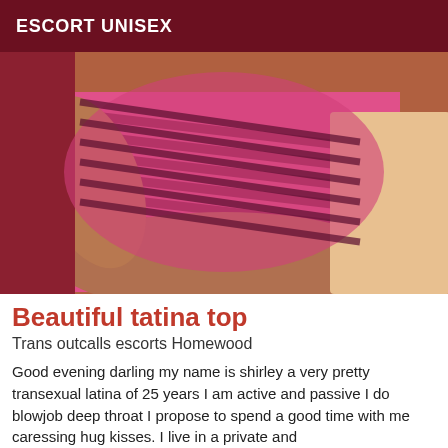ESCORT UNISEX
[Figure (photo): Photo of a person wearing a pink and dark striped bodysuit, cropped torso view]
Beautiful tatina top
Trans outcalls escorts Homewood
Good evening darling my name is shirley a very pretty transexual latina of 25 years I am active and passive I do blowjob deep throat I propose to spend a good time with me caressing hug kisses. I live in a private and